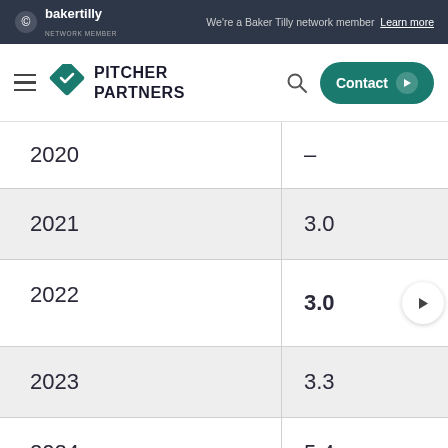Baker Tilly network member — We're a Baker Tilly network member Learn more
[Figure (logo): Pitcher Partners logo with Baker Tilly network header, navigation bar with hamburger menu, search icon and Contact button]
| Year | Value |
| --- | --- |
| 2020 | – |
| 2021 | 3.0 |
| 2022 | 3.0 |
| 2023 | 3.3 |
| 2024 | 5.4 |
| Total |  |